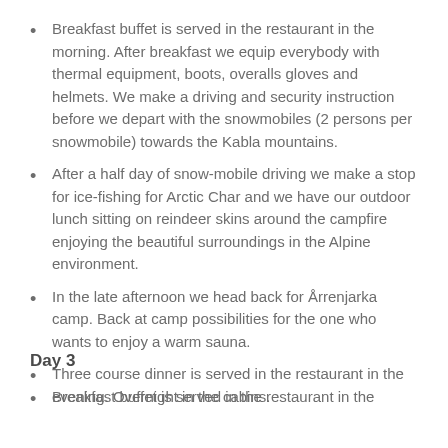Breakfast buffet is served in the restaurant in the morning. After breakfast we equip everybody with thermal equipment, boots, overalls gloves and helmets. We make a driving and security instruction before we depart with the snowmobiles (2 persons per snowmobile) towards the Kabla mountains.
After a half day of snow-mobile driving we make a stop for ice-fishing for Arctic Char and we have our outdoor lunch sitting on reindeer skins around the campfire enjoying the beautiful surroundings in the Alpine environment.
In the late afternoon we head back for Årrenjarka camp. Back at camp possibilities for the one who wants to enjoy a warm sauna.
Three course dinner is served in the restaurant in the evening. Overnight in the cabins.
Day 3
Breakfast buffet is served in the restaurant in the